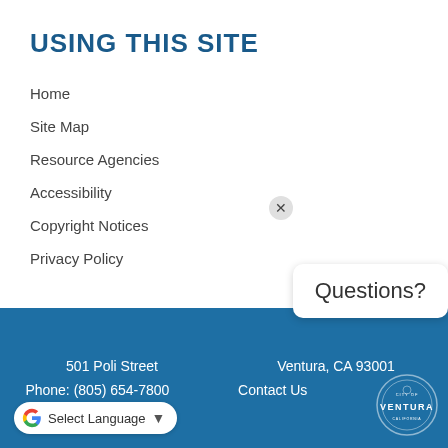USING THIS SITE
Home
Site Map
Resource Agencies
Accessibility
Copyright Notices
Privacy Policy
501 Poli Street   Ventura, CA 93001   Phone: (805) 654-7800   Contact Us
[Figure (logo): City of Ventura seal/logo in white on blue background]
Questions?
Select Language